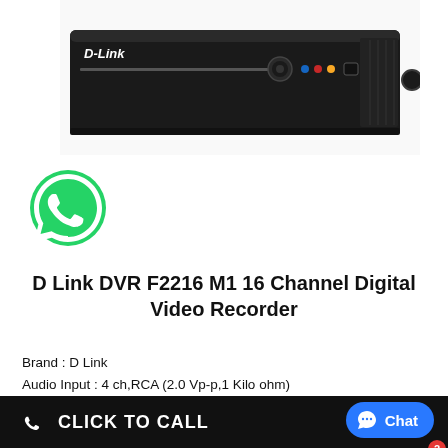[Figure (photo): D-Link DVR device, black rectangular hardware unit with front panel showing D-Link logo, a disc slot, status LEDs (blue, red, yellow), and a USB port]
[Figure (logo): WhatsApp green circular logo with white phone handset icon]
D Link DVR F2216 M1 16 Channel Digital Video Recorder
Brand : D Link
Audio Input : 4 ch,RCA (2.0 Vp-p,1 Kilo ohm)
Ethernet : 1 RJ45,10/100 Mbps self-adaptive Ethernet
C interface (1.0Vp-p,75
[Figure (other): Black 'CLICK TO CALL' button bar with white phone icon on left]
[Figure (other): Blue 'Chat' button with chat bubble icon and red badge showing '2']